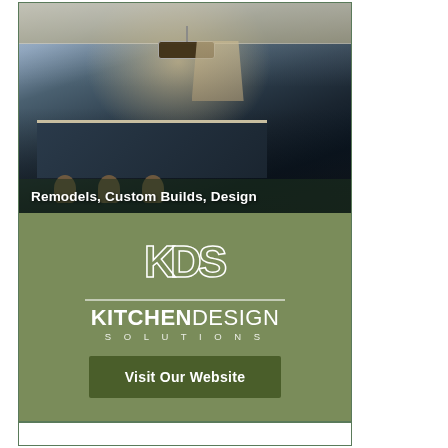[Figure (photo): Advertisement for Kitchen Design Solutions. Top half shows a luxury kitchen interior with dark navy island, bar stools, pendant lighting, range hood, and cream upper cabinets. Overlaid text reads 'Remodels, Custom Builds, Design'. Bottom half is an olive/sage green background with KDS logo monogram, 'KITCHEN DESIGN SOLUTIONS' text, and a 'Visit Our Website' dark green button.]